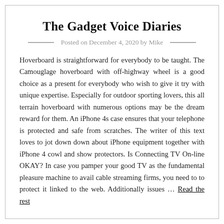The Gadget Voice Diaries
Posted on December 4, 2020 by Mike
Hoverboard is straightforward for everybody to be taught. The Camouglage hoverboard with off-highway wheel is a good choice as a present for everybody who wish to give it try with unique expertise. Especially for outdoor sporting lovers, this all terrain hoverboard with numerous options may be the dream reward for them. An iPhone 4s case ensures that your telephone is protected and safe from scratches. The writer of this text loves to jot down down about iPhone equipment together with iPhone 4 cowl and show protectors. Is Connecting TV On-line OKAY? In case you pamper your good TV as the fundamental pleasure machine to avail cable streaming firms, you need to to protect it linked to the web. Additionally issues … Read the rest